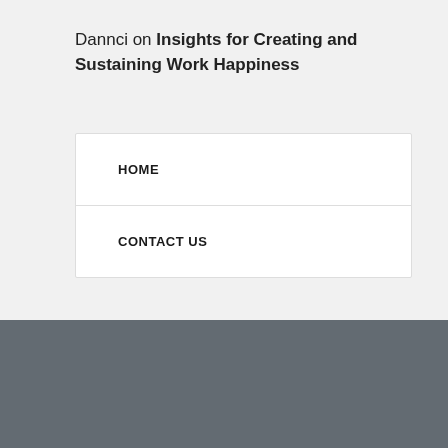Dannci on Insights for Creating and Sustaining Work Happiness
HOME
CONTACT US
NATIONAL METROPOLITAN CHOIR OF AUSTR An Activity of The Greek Orthodox Archdiocese of Australia HOME :: JOIN THE CHOIR :: BECOME A SPONSOR